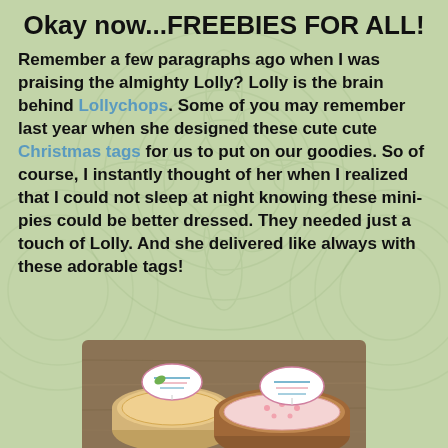Okay now...FREEBIES FOR ALL!
Remember a few paragraphs ago when I was praising the almighty Lolly? Lolly is the brain behind Lollychops. Some of you may remember last year when she designed these cute cute Christmas tags for us to put on our goodies. So of course, I instantly thought of her when I realized that I could not sleep at night knowing these mini-pies could be better dressed. They needed just a touch of Lolly. And she delivered like always with these adorable tags!
[Figure (photo): Photo of two mini-pies in small round tins with decorative oval tags attached, sitting on a wooden surface]